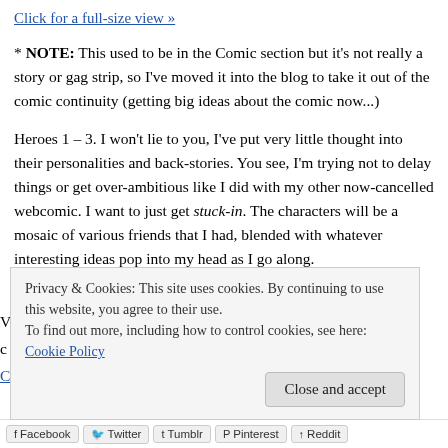Click for a full-size view »
* NOTE: This used to be in the Comic section but it's not really a story or gag strip, so I've moved it into the blog to take it out of the comic continuity (getting big ideas about the comic now...)
Heroes 1 – 3. I won't lie to you, I've put very little thought into their personalities and back-stories. You see, I'm trying not to delay things or get over-ambitious like I did with my other now-cancelled webcomic. I want to just get stuck-in. The characters will be a mosaic of various friends that I had, blended with whatever interesting ideas pop into my head as I go along.
Privacy & Cookies: This site uses cookies. By continuing to use this website, you agree to their use.
To find out more, including how to control cookies, see here: Cookie Policy
Close and accept